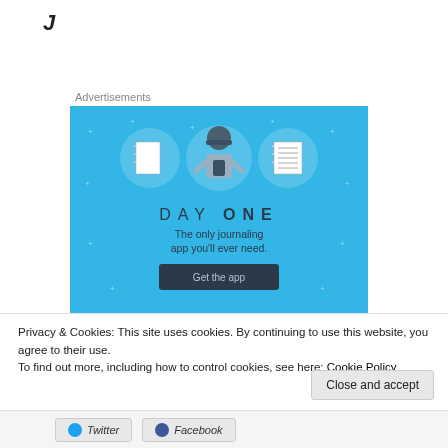J
Advertisements
[Figure (illustration): Day One journaling app advertisement with blue background. Shows three circular icons (blank notebook, person using phone, lined notebook), the text 'DAY ONE', tagline 'The only journaling app you'll ever need.' and a 'Get the app' button.]
Privacy & Cookies: This site uses cookies. By continuing to use this website, you agree to their use.
To find out more, including how to control cookies, see here: Cookie Policy
Close and accept
Twitter  Facebook